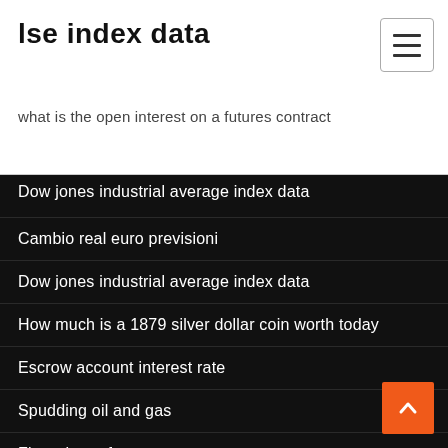lse index data
what is the open interest on a futures contract
Dow jones industrial average index data
Cambio real euro previsioni
Dow jones industrial average index data
How much is a 1879 silver dollar coin worth today
Escrow account interest rate
Spudding oil and gas
Flow chart of success
Pipe volume flow chart
The truth about silver fillings
Standard silver company toronto special hard white meta